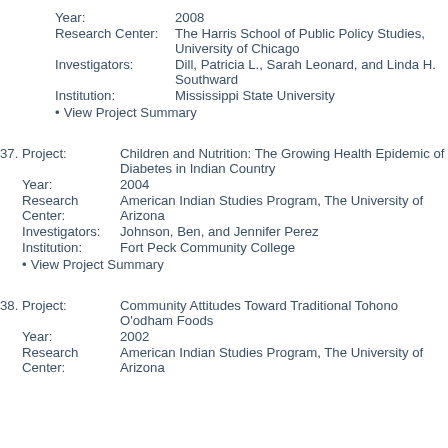Year: 2008
Research Center: The Harris School of Public Policy Studies, University of Chicago
Investigators: Dill, Patricia L., Sarah Leonard, and Linda H. Southward
Institution: Mississippi State University
• View Project Summary
37. Project: Children and Nutrition: The Growing Health Epidemic of Diabetes in Indian Country
Year: 2004
Research Center: American Indian Studies Program, The University of Arizona
Investigators: Johnson, Ben, and Jennifer Perez
Institution: Fort Peck Community College
• View Project Summary
38. Project: Community Attitudes Toward Traditional Tohono O'odham Foods
Year: 2002
Research Center: American Indian Studies Program, The University of Arizona